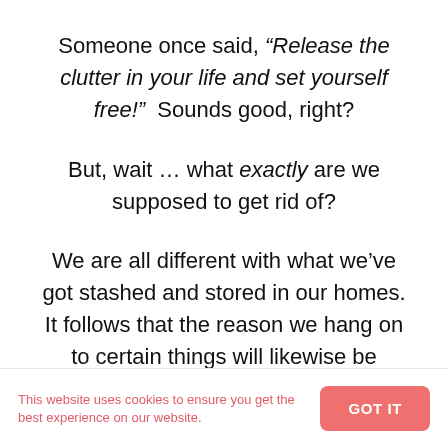Someone once said, “Release the clutter in your life and set yourself free!”  Sounds good, right?
But, wait … what exactly are we supposed to get rid of?
We are all different with what we’ve got stashed and stored in our homes. It follows that the reason we hang on to certain things will likewise be unique.
This website uses cookies to ensure you get the best experience on our website.  GOT IT